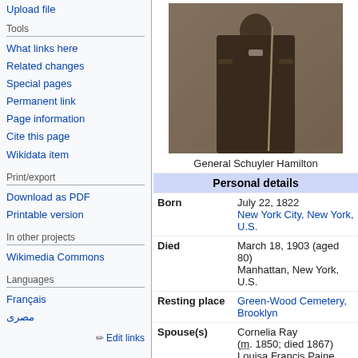Upload file
Tools
What links here
Related changes
Special pages
Permanent link
Page information
Cite this page
Wikidata item
Print/export
Download as PDF
Printable version
In other projects
Wikimedia Commons
Languages
Français
مصرى
Edit links
[Figure (photo): Historical photograph of General Schuyler Hamilton in military uniform holding a sword]
General Schuyler Hamilton
| Personal details |  |
| --- | --- |
| Born | July 22, 1822
New York City, New York, U.S. |
| Died | March 18, 1903 (aged 80)
Manhattan, New York, U.S. |
| Resting place | Green-Wood Cemetery, Brooklyn |
| Spouse(s) | Cornelia Ray (m. 1850; died 1867)
Louisa Francis Paine Allen (m. 1886; died 1898) |
| Children | Robert Ray Hamilton
Schuyler Hamilton, Jr. |
| Parent(s) | John Church Hamilton
Maria Eliza van den Heuvel |
| Relatives | See Hamilton family |